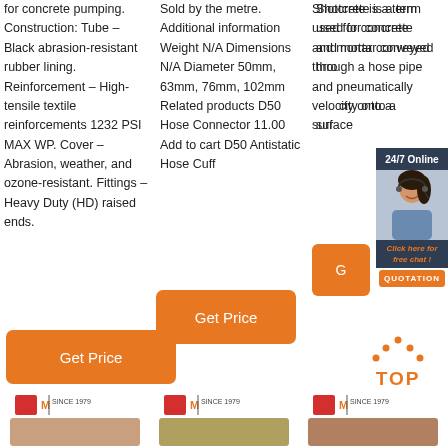for concrete pumping. Construction: Tube – Black abrasion-resistant rubber lining. Reinforcement – High-tensile textile reinforcements 1232 PSI MAX WP. Cover – Abrasion, weather, and ozone-resistant. Fittings – Heavy Duty (HD) raised ends.
Sold by the metre. Additional information Weight N/A Dimensions N/A Diameter 50mm, 63mm, 76mm, 102mm Related products D50 Hose Connector 11.00 Add to cart D50 Antistatic Hose Cuff
Shotcrete is a term used for concrete and mortar conveyed through a hose pipe and pneumatically projected at high velocity onto a surface
[Figure (photo): Customer service representative with headset, 24/7 Online chat banner with quotation button]
Get Price
Get Price
[Figure (illustration): TOP button with orange dots above text]
[Figure (logo): Three company logos at bottom of page]
[Figure (photo): Three product images at bottom]